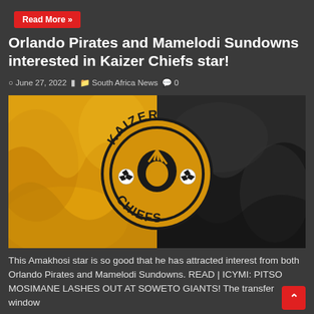Read More »
Orlando Pirates and Mamelodi Sundowns interested in Kaizer Chiefs star!
June 27, 2022   South Africa News   0
[Figure (photo): Kaizer Chiefs logo on a half gold, half black draped fabric background. The circular badge reads KAIZER CHIEFS with a feathered chief head emblem and two soccer balls flanking it.]
This Amakhosi star is so good that he has attracted interest from both Orlando Pirates and Mamelodi Sundowns. READ | ICYMI: PITSO MOSIMANE LASHES OUT AT SOWETO GIANTS! The transfer window